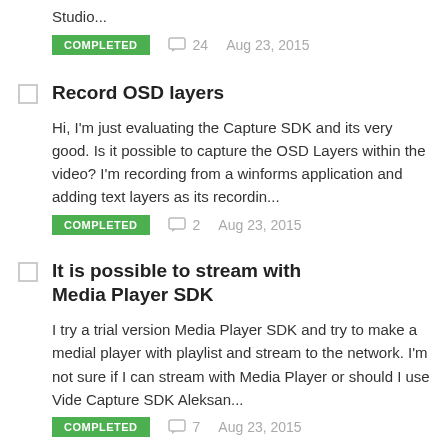Studio...
COMPLETED  24  Aug 23, 2015
Record OSD layers
Hi, I'm just evaluating the Capture SDK and its very good. Is it possible to capture the OSD Layers within the video? I'm recording from a winforms application and adding text layers as its recordin...
COMPLETED  2  Aug 23, 2015
It is possible to stream with Media Player SDK
I try a trial version Media Player SDK and try to make a medial player with playlist and stream to the network. I'm not sure if I can stream with Media Player or should I use Vide Capture SDK Aleksan...
COMPLETED  7  Aug 23, 2015
Few clarification while using